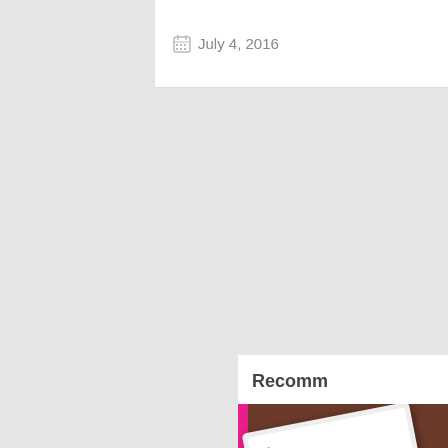July 4, 2016   0
Recomm
[Figure (photo): Partial view of a tablet/paper mockup on a brown wooden desk, with a pink accent bar on the left edge]
White iP
Download quality PS